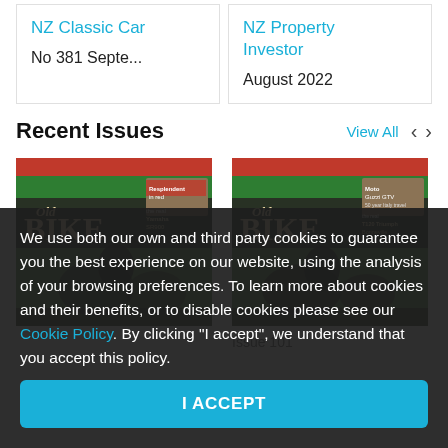NZ Classic Car
No 381 Septe...
NZ Property Investor
August 2022
Recent Issues
View All
[Figure (photo): Magazine cover: Old Bike Australasia - left issue]
[Figure (photo): Magazine cover: Old Bike Australasia - right issue, Issue 101]
Issue 101
We use both our own and third party cookies to guarantee you the best experience on our website, using the analysis of your browsing preferences. To learn more about cookies and their benefits, or to disable cookies please see our Cookie Policy. By clicking "I accept", we understand that you accept this policy.
I ACCEPT